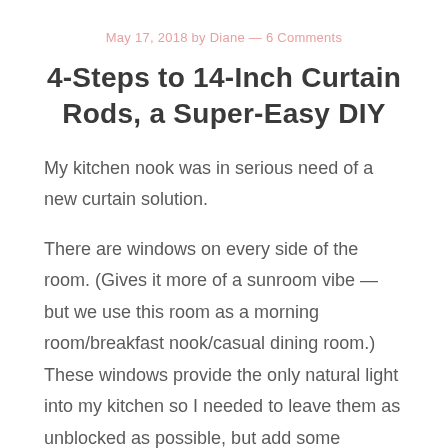May 17, 2018 by Diane — 6 Comments
4-Steps to 14-Inch Curtain Rods, a Super-Easy DIY
My kitchen nook was in serious need of a new curtain solution.
There are windows on every side of the room. (Gives it more of a sunroom vibe — but we use this room as a morning room/breakfast nook/casual dining room.) These windows provide the only natural light into my kitchen so I needed to leave them as unblocked as possible, but add some